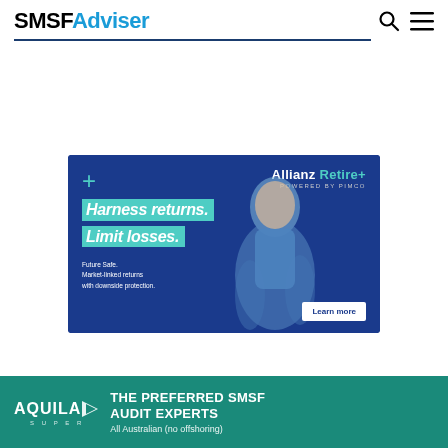SMSFAdviser
[Figure (illustration): Allianz Retire+ advertisement banner. Dark blue background with a smiling older man in a denim shirt. Text: 'Harness returns. Limit losses. Future Safe. Market-linked returns with downside protection.' Allianz Retire+ powered by PIMCO branding. Learn more button.]
[Figure (illustration): Aquila Super advertisement banner. Teal/green background. Aquila Super logo on left. Text: 'THE PREFERRED SMSF AUDIT EXPERTS. All Australian (no offshoring)']